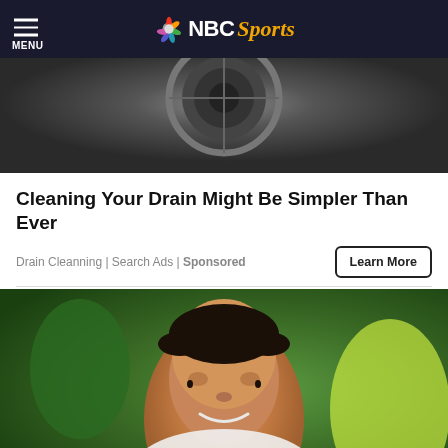NBC Sports
[Figure (photo): Close-up photo of a drain or circular metal object, dark tones, steel surface]
Cleaning Your Drain Might Be Simpler Than Ever
Drain Cleanning | Search Ads | Sponsored
[Figure (photo): Smiling young woman with long dark hair, wearing white top, outdoors with green foliage background]